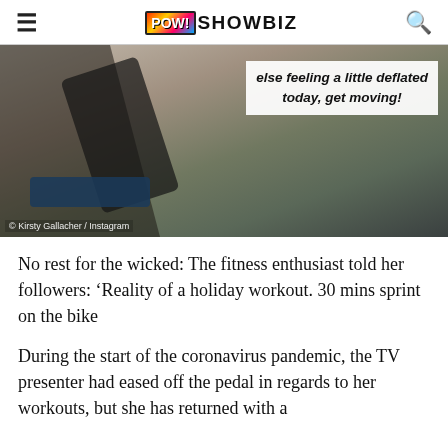POW! SHOWBIZ
[Figure (photo): Close-up video still of a person cycling on a stationary bike, with text overlay reading: else feeling a little deflated today, get moving! Credit: Kirsty Gallacher / Instagram]
No rest for the wicked: The fitness enthusiast told her followers: ‘Reality of a holiday workout. 30 mins sprint on the bike
During the start of the coronavirus pandemic, the TV presenter had eased off the pedal in regards to her workouts, but she has returned with a